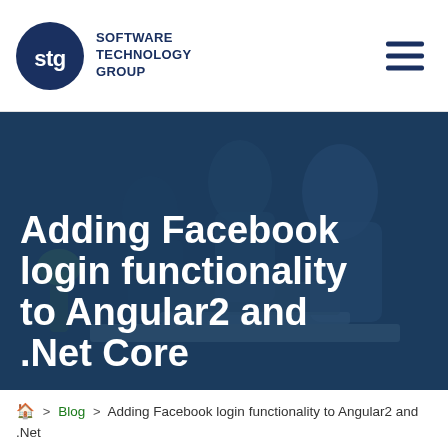STG SOFTWARE TECHNOLOGY GROUP
[Figure (photo): Group of people collaborating around a laptop, overlaid with a dark navy blue tint. Large white bold text reads: Adding Facebook login functionality to Angular2 and .Net Core]
Adding Facebook login functionality to Angular2 and .Net Core
🏠 > Blog > Adding Facebook login functionality to Angular2 and .Net Core